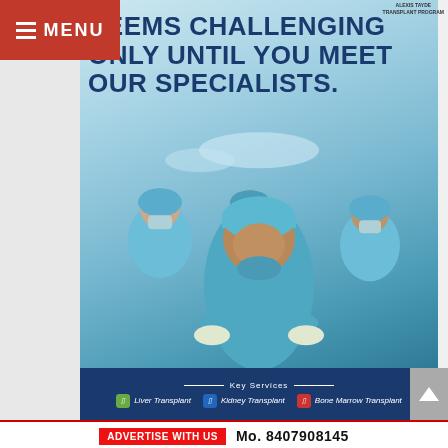[Figure (photo): Medical advertisement showing four surgeons in blue scrubs and masks in an operating room, with bold headline text overlay. Background shows a hospital operating theater with overhead surgical lights.]
AN ORGAN TRANSPLANT SEEMS CHALLENGING ONLY UNTIL YOU MEET OUR SPECIALISTS.
Key Services
Liver Transplant
Kidney Transplant
Bone Marrow Transplant
ADVERTISE WITH US   Mo. 8407908145